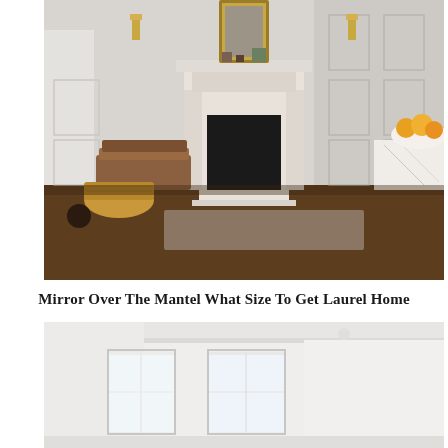[Figure (photo): Elegant living room interior with ornate white marble fireplace, large gold-framed mirror above mantel, herringbone wood floor, stacked firewood, wicker basket, wall sconces, paneled walls, and a marble countertop visible on the right side.]
Mirror Over The Mantel What Size To Get Laurel Home
[Figure (photo): Bright, minimalist white room interior with large windows letting in natural light, white walls and ceiling with crown molding, very light and airy atmosphere.]